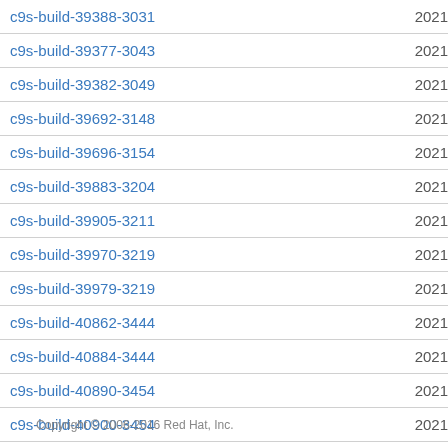| Build | Date |
| --- | --- |
| c9s-build-39388-3031 | 2021 |
| c9s-build-39377-3043 | 2021 |
| c9s-build-39382-3049 | 2021 |
| c9s-build-39692-3148 | 2021 |
| c9s-build-39696-3154 | 2021 |
| c9s-build-39883-3204 | 2021 |
| c9s-build-39905-3211 | 2021 |
| c9s-build-39970-3219 | 2021 |
| c9s-build-39979-3219 | 2021 |
| c9s-build-40862-3444 | 2021 |
| c9s-build-40884-3444 | 2021 |
| c9s-build-40890-3454 | 2021 |
| c9s-build-40900-3454 | 2021 |
| c9s-build-40907-3454 | 2021 |
Copyright © 2006-2016 Red Hat, Inc.